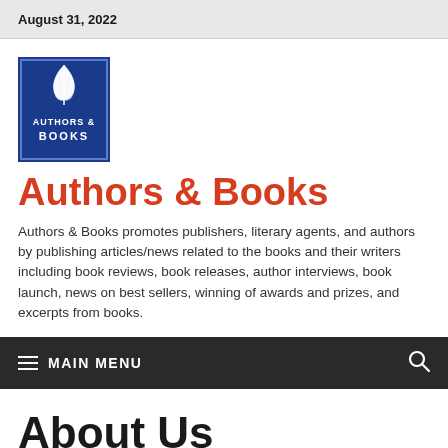August 31, 2022
[Figure (logo): Authors & Books logo: blue square with white leaf/feather icon and text AUTHORS & BOOKS]
Authors & Books
Authors & Books promotes publishers, literary agents, and authors by publishing articles/news related to the books and their writers including book reviews, book releases, author interviews, book launch, news on best sellers, winning of awards and prizes, and excerpts from books.
MAIN MENU
About Us